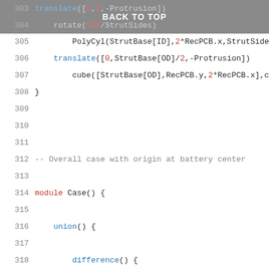BACK TO TOP
[Figure (screenshot): OpenSCAD source code listing lines 303-322 showing module Case() definition with union(), difference(), hull(), for loop, and translate() calls]
303    translate([0,0,-Protrusion])
304    rotate(180/StrutSides)
305        PolyCyl(StrutBase[ID],2*RecPCB.x,StrutSides);
306    translate([0,StrutBase[OD]/2,-Protrusion])
307        cube([StrutBase[OD],RecPCB.y,2*RecPCB.x],center:
308  }
309  
310  
311  
312  -- Overall case with origin at battery center
313  
314  module Case() {
315  
316    union() {
317  
318      difference() {
319        union() {
320          hull()
321            for (i=[-1,1], j=[-1,1])
322              translate([i*(CaseSize.x/2 - CornerRadi